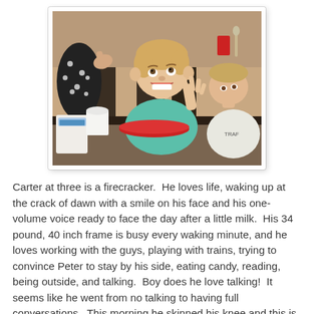[Figure (photo): A young boy around age 3 in a teal/turquoise shirt sitting at a table, looking up excitedly with his hand raised. An adult in a polka-dot sleeve is visible on the left. Another child in a white t-shirt is visible on the right. There are food items and red cups on the table.]
Carter at three is a firecracker.  He loves life, waking up at the crack of dawn with a smile on his face and his one-volume voice ready to face the day after a little milk.  His 34 pound, 40 inch frame is busy every waking minute, and he loves working with the guys, playing with trains, trying to convince Peter to stay by his side, eating candy, reading, being outside, and talking.  Boy does he love talking!  It seems like he went from no talking to having full conversations.  This morning he skinned his knee and this is how the conversation went (between sobs):